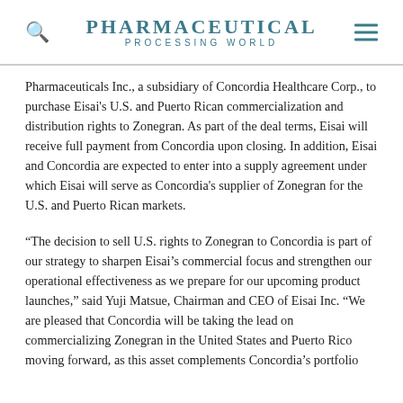Pharmaceutical Processing World
Pharmaceuticals Inc., a subsidiary of Concordia Healthcare Corp., to purchase Eisai's U.S. and Puerto Rican commercialization and distribution rights to Zonegran. As part of the deal terms, Eisai will receive full payment from Concordia upon closing. In addition, Eisai and Concordia are expected to enter into a supply agreement under which Eisai will serve as Concordia's supplier of Zonegran for the U.S. and Puerto Rican markets.
“The decision to sell U.S. rights to Zonegran to Concordia is part of our strategy to sharpen Eisai’s commercial focus and strengthen our operational effectiveness as we prepare for our upcoming product launches,” said Yuji Matsue, Chairman and CEO of Eisai Inc. “We are pleased that Concordia will be taking the lead on commercializing Zonegran in the United States and Puerto Rico moving forward, as this asset complements Concordia’s portfolio